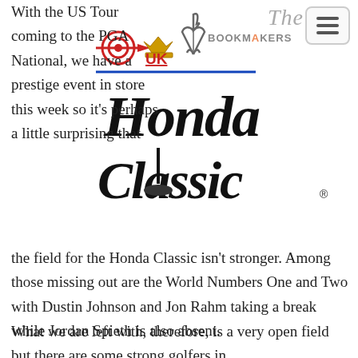UK Bookmakers / The Honda Classic
[Figure (logo): UK Bookmakers logo with dart/target icon and flag book icon, plus 'The Honda Classic' text logo in script font]
With the US Tour coming to the PGA National, we have a prestige event in store this week so it's perhaps a little surprising that the field for the Honda Classic isn't stronger. Among those missing out are the World Numbers One and Two with Dustin Johnson and Jon Rahm taking a break while Jordan Spieth is also absent.
What we are left with, therefore, is a very open field but there are some strong golfers in